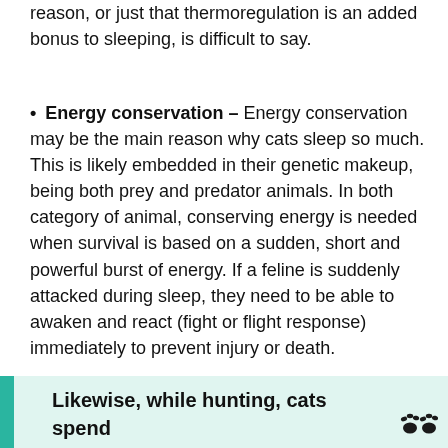reason, or just that thermoregulation is an added bonus to sleeping, is difficult to say.
Energy conservation – Energy conservation may be the main reason why cats sleep so much. This is likely embedded in their genetic makeup, being both prey and predator animals. In both category of animal, conserving energy is needed when survival is based on a sudden, short and powerful burst of energy. If a feline is suddenly attacked during sleep, they need to be able to awaken and react (fight or flight response) immediately to prevent injury or death.
Likewise, while hunting, cats spend